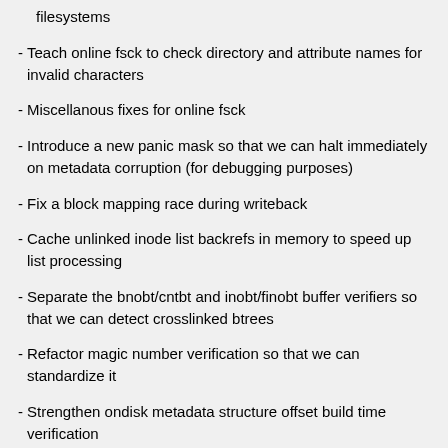filesystems
Teach online fsck to check directory and attribute names for invalid characters
Miscellanous fixes for online fsck
Introduce a new panic mask so that we can halt immediately on metadata corruption (for debugging purposes)
Fix a block mapping race during writeback
Cache unlinked inode list backrefs in memory to speed up list processing
Separate the bnobt/cntbt and inobt/finobt buffer verifiers so that we can detect crosslinked btrees
Refactor magic number verification so that we can standardize it
Strengthen ondisk metadata structure offset build time verification
Fix a memory corruption problem in the listxattr code
Fix a shutdown problem during log recovery due to unreserved finobt